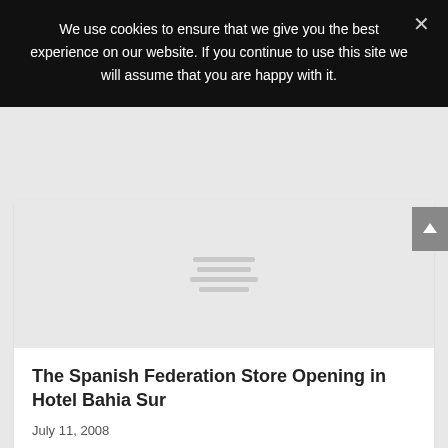We use cookies to ensure that we give you the best experience on our website. If you continue to use this site we will assume that you are happy with it.
[Figure (illustration): Placeholder image with horizontal gray lines on a light gray background representing a loading or placeholder card image]
The Spanish Federation Store Opening in Hotel Bahia Sur
July 11, 2008